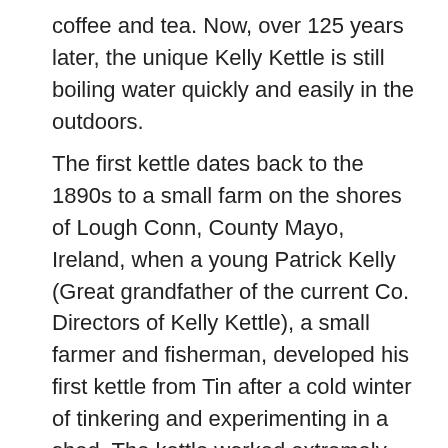coffee and tea. Now, over 125 years later, the unique Kelly Kettle is still boiling water quickly and easily in the outdoors.
The first kettle dates back to the 1890s to a small farm on the shores of Lough Conn, County Mayo, Ireland, when a young Patrick Kelly (Great grandfather of the current Co. Directors of Kelly Kettle), a small farmer and fisherman, developed his first kettle from Tin after a cold winter of tinkering and experimenting in a shed. The kettle worked extremely well but burned out from regular use on Lough Conn when Patrick was fishing for Trout & Salmon the following summer. After going through a number of Tin kettles, he developed the kettle in copper which proved more durable. News of his kettle spread among local anglers and it